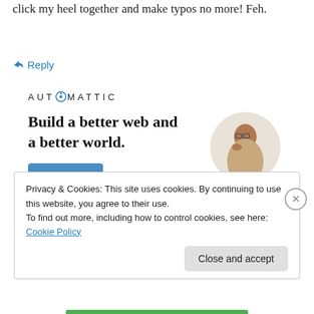click my heel together and make typos no more! Feh.
↳ Reply
[Figure (infographic): Automattic logo and job advertisement: 'Build a better web and a better world.' with an Apply button and a circular photo of a person thinking.]
Privacy & Cookies: This site uses cookies. By continuing to use this website, you agree to their use.
To find out more, including how to control cookies, see here: Cookie Policy
Close and accept